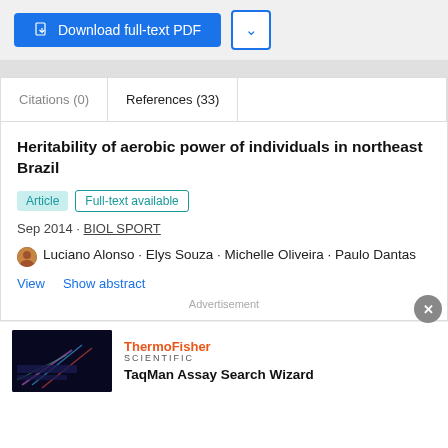[Figure (screenshot): Download full-text PDF button (blue) and dropdown arrow button]
Citations (0)
References (33)
Heritability of aerobic power of individuals in northeast Brazil
Article  Full-text available
Sep 2014 · BIOL SPORT
Luciano Alonso · Elys Souza · Michelle Oliveira · Paulo Dantas
View  Show abstract
Advertisement
[Figure (photo): ThermoFisher Scientific advertisement with dark background image showing laser/light visualization]
TaqMan Assay Search Wizard